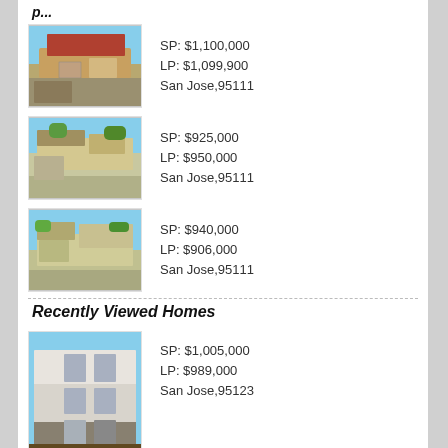[Figure (photo): House exterior photo 1 - single story home with red/brown roof]
SP: $1,100,000
LP: $1,099,900
San Jose,95111
[Figure (photo): House exterior photo 2 - single story home with driveway and trees]
SP: $925,000
LP: $950,000
San Jose,95111
[Figure (photo): House exterior photo 3 - single story home with garage]
SP: $940,000
LP: $906,000
San Jose,95111
Recently Viewed Homes
[Figure (photo): Multi-story modern townhouse exterior]
SP: $1,005,000
LP: $989,000
San Jose,95123
All information furnished regarding property for sale, rental, comparables or